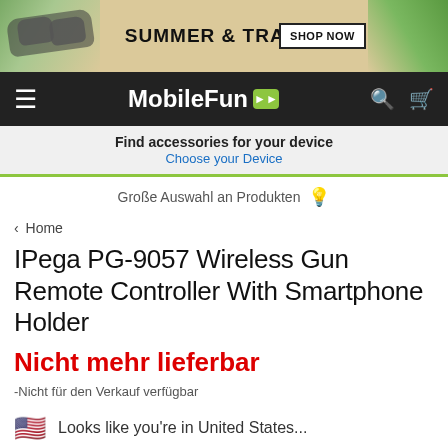[Figure (screenshot): Summer & Travel banner ad with sunglasses and tropical leaves. 'SHOP NOW' button in top right.]
MobileFun
Find accessories for your device
Choose your Device
Große Auswahl an Produkten
‹ Home
IPega PG-9057 Wireless Gun Remote Controller With Smartphone Holder
Nicht mehr lieferbar -Nicht für den Verkauf verfügbar
🇺🇸 Looks like you're in United States...
SHOP THERE
DISMISS